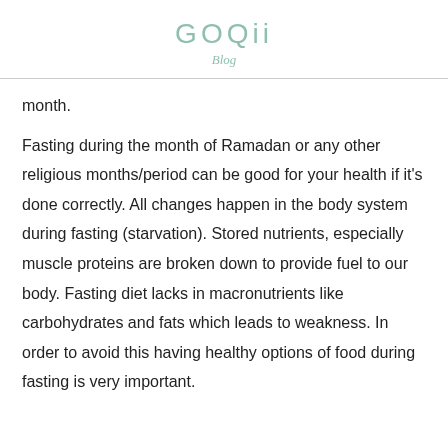GOQii
Blog
month.
Fasting during the month of Ramadan or any other religious months/period can be good for your health if it’s done correctly. All changes happen in the body system during fasting (starvation). Stored nutrients, especially muscle proteins are broken down to provide fuel to our body. Fasting diet lacks in macronutrients like carbohydrates and fats which leads to weakness. In order to avoid this having healthy options of food during fasting is very important.